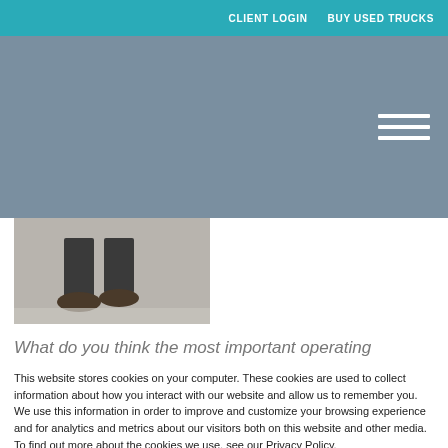CLIENT LOGIN   BUY USED TRUCKS
[Figure (screenshot): Gray navigation header band with hamburger menu icon (three white horizontal lines) on the right side]
[Figure (photo): Partial photo showing the lower half of a person standing, with feet/shoes visible on a concrete floor]
What do you think the most important operating
This website stores cookies on your computer. These cookies are used to collect information about how you interact with our website and allow us to remember you. We use this information in order to improve and customize your browsing experience and for analytics and metrics about our visitors both on this website and other media. To find out more about the cookies we use, see our Privacy Policy.
If you decline, your information won't be tracked when you visit this website. A single cookie will be used in your browser to remember your preference not to be tracked.